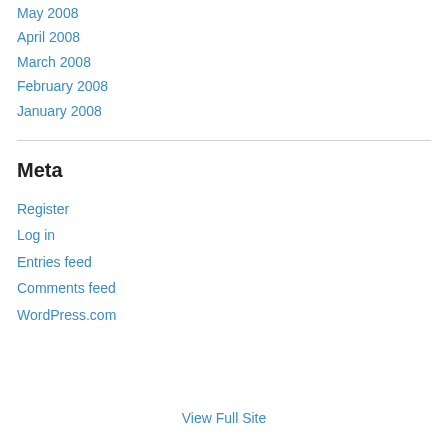May 2008
April 2008
March 2008
February 2008
January 2008
Meta
Register
Log in
Entries feed
Comments feed
WordPress.com
View Full Site